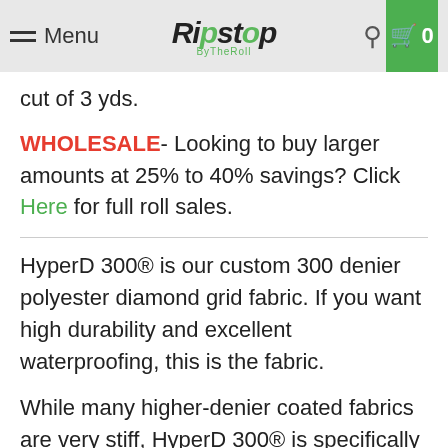Menu | Ripstop ByTheRoll | [search] [cart 0]
cut of 3 yds.
WHOLESALE- Looking to buy larger amounts at 25% to 40% savings? Click Here for full roll sales.
HyperD 300® is our custom 300 denier polyester diamond grid fabric. If you want high durability and excellent waterproofing, this is the fabric.
While many higher-denier coated fabrics are very stiff, HyperD 300® is specifically made to have a softer hand feel and increased